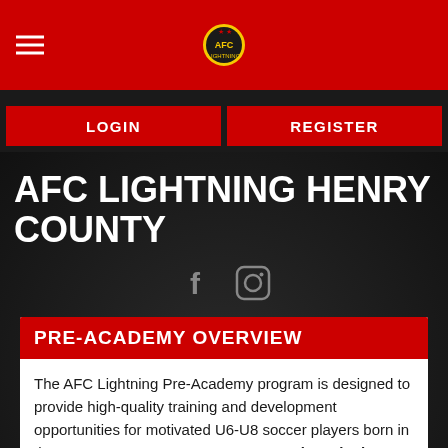[Figure (logo): AFC Lightning soccer club logo/crest centered in red navigation bar with hamburger menu icon on left]
[Figure (other): LOGIN and REGISTER red buttons side by side on dark background]
AFC LIGHTNING HENRY COUNTY
[Figure (other): Facebook and Instagram social media icons in gray on dark background]
PRE-ACADEMY OVERVIEW
The AFC Lightning Pre-Academy program is designed to provide high-quality training and development opportunities for motivated U6-U8 soccer players born in the years 2014, 2015, & 2016. Pre-Academy is the stepping stone to the AFC Lightning Academy program (U9-U12). It is the beginning stage of elite training for U6-U8 players. The objective of this program is to provide every player with a structured, comprehensive training experience that will help